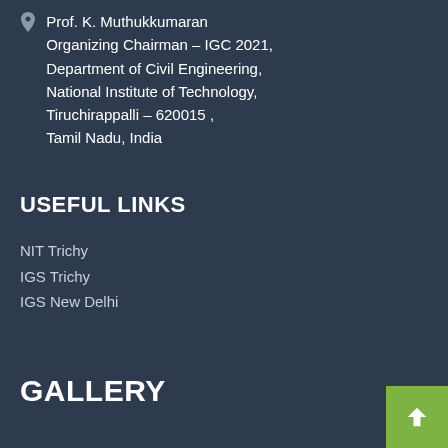Prof. K. Muthukkumaran Organizing Chairman – IGC 2021, Department of Civil Engineering, National Institute of Technology, Tiruchirappalli – 620015 , Tamil Nadu, India
USEFUL LINKS
NIT Trichy
IGS Trichy
IGS New Delhi
GALLERY